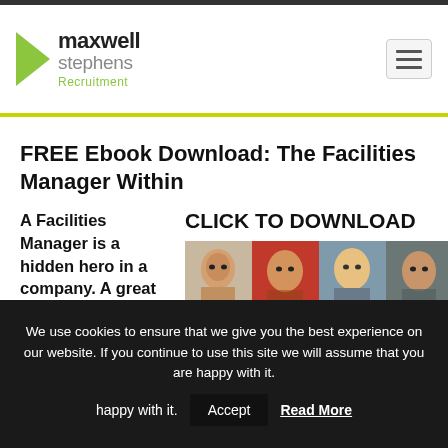[Figure (logo): Maxwell Stephens Recruitment logo with green arrow chevron and company name]
FREE Ebook Download: The Facilities Manager Within
A Facilities Manager is a hidden hero in a company. A great facilities manager is just
CLICK TO DOWNLOAD
[Figure (photo): Four professional headshots of people (two women, two men) on colored backgrounds]
We use cookies to ensure that we give you the best experience on our website. If you continue to use this site we will assume that you are happy with it.
Accept
Read More